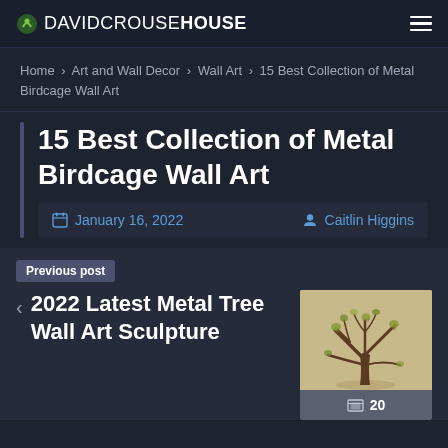DAVIDCROUSEHOUSE
Home › Art and Wall Decor › Wall Art › 15 Best Collection of Metal Birdcage Wall Art
15 Best Collection of Metal Birdcage Wall Art
January 16, 2022   Caitlin Higgins
Previous post
2022 Latest Metal Tree Wall Art Sculpture
20